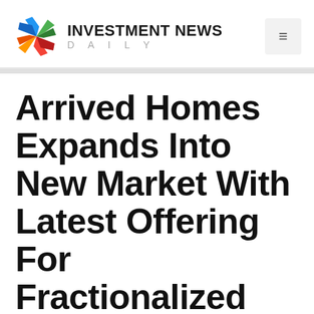[Figure (logo): Investment News Daily logo with colorful cross/star icon and bold text INVESTMENT NEWS DAILY]
Arrived Homes Expands Into New Market With Latest Offering For Fractionalized